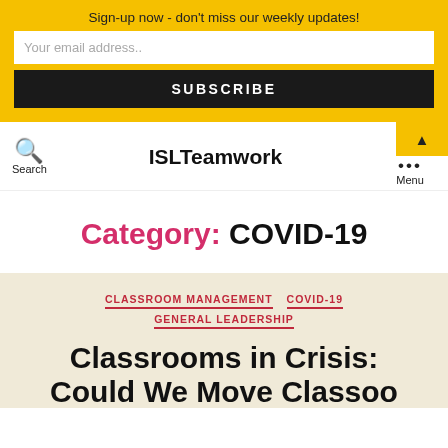Sign-up now - don't miss our weekly updates!
Your email address..
SUBSCRIBE
ISLTeamwork
Category: COVID-19
CLASSROOM MANAGEMENT
COVID-19
GENERAL LEADERSHIP
Classrooms in Crisis: Could We Move Classoo